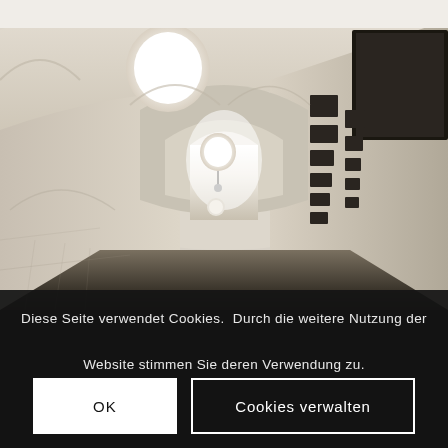[Figure (photo): Interior corridor of a vaulted stone building with arched ceiling, circular skylights in the ceiling, and rectangular niches along the right wall. The space stretches into the distance where a bright doorway is visible. The walls are plastered in light beige/white. Fisheye lens perspective.]
Diese Seite verwendet Cookies.  Durch die weitere Nutzung der Website stimmen Sie deren Verwendung zu.
OK
Cookies verwalten